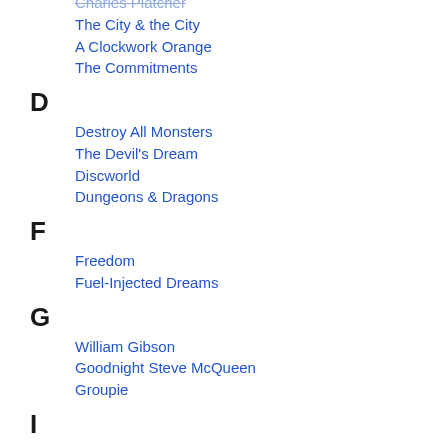Charles Platcher
The City & the City
A Clockwork Orange
The Commitments
D
Destroy All Monsters
The Devil's Dream
Discworld
Dungeons & Dragons
F
Freedom
Fuel-Injected Dreams
G
William Gibson
Goodnight Steve McQueen
Groupie
I
The Illuminatus! Trilogy
K